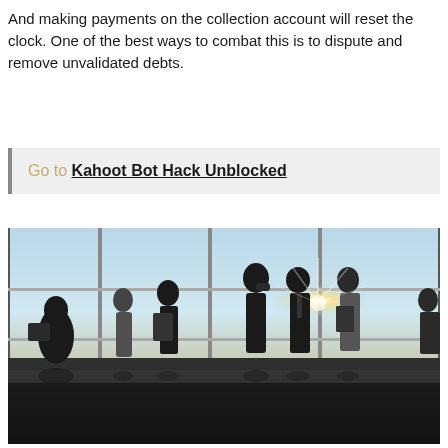And making payments on the collection account will reset the clock. One of the best ways to combat this is to dispute and remove unvalidated debts.
Go to Kahoot Bot Hack Unblocked
[Figure (photo): Silhouettes of business people standing and talking in a modern office with large floor-to-ceiling windows, sunlight streaming in, reflections visible on the polished floor.]